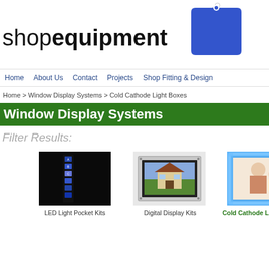[Figure (logo): Shop equipment logo with price tag icon. Text reads 'shop equipment' with a blue price tag graphic.]
Home | About Us | Contact | Projects | Shop Fitting & Design
Home > Window Display Systems > Cold Cathode Light Boxes
Window Display Systems
Filter Results:
[Figure (photo): LED Light Pocket Kits product image - dark background with lit display strips]
LED Light Pocket Kits
[Figure (photo): Digital Display Kits product image - silver frame display with house photo]
Digital Display Kits
[Figure (photo): Cold Cathode Light Box product image - blue backlit frame with mother and baby photo]
Cold Cathode Light Box